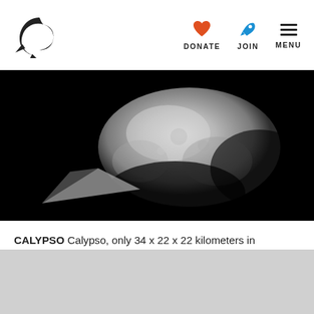DONATE JOIN MENU
[Figure (photo): Black and white close-up image of Calypso, a small irregular moon of Saturn, against a black background. The moon appears as a pale, lumpy, elongated body.]
CALYPSO Calypso, only 34 x 22 x 22 kilometers in diameter, occupies the L4 Lagrangian point in Tethys' orbit -- it sits in a point 60 degrees ahead of Tethys. Image: NASA / JPL-Caltech / SSI / color composite by Emily Lakdawalla